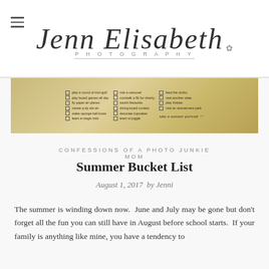Jenn Elisabeth PHOTOGRAPHY
[Figure (photo): Summer bucket list checklist on aged paper background with items like 'play a round of mini golf', 'ride a carousel', 'feed the ducks', 'run/walk a 5k for charity', 'watch fireworks', 'visit another state', 'play frisbee', 'diving board contest', 'visit an amusement park', 'decorate cupcakes', 'learn to juggle', 'take a summer portrait']
CONFESSIONS OF A PHOTO JUNKIE MOM
Summer Bucket List
August 1, 2017  by Jenni
The summer is winding down now.  June and July may be gone but don't forget all the fun you can still have in August before school starts.  If your family is anything like mine, you have a tendency to...